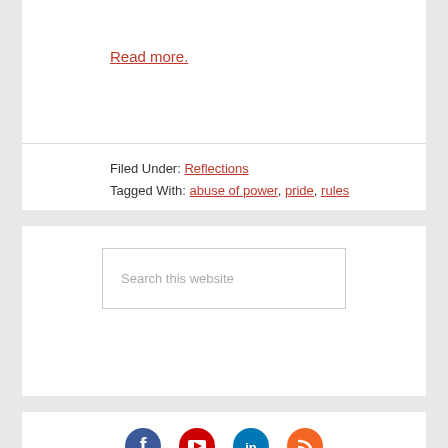Read more.
Filed Under: Reflections
Tagged With: abuse of power, pride, rules
Search this website
[Figure (illustration): Social media icons: Facebook (blue circle with f), YouTube (red circle with play button), LinkedIn (blue circle with in), RSS (orange circle with RSS icon)]